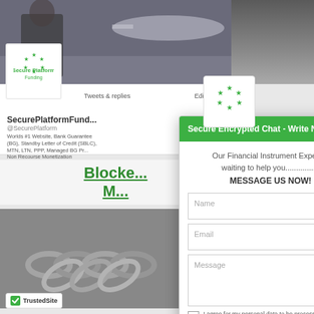[Figure (screenshot): Background showing Twitter/social profile page for Secure Platform Funding with a business man and airplane header image]
SecurePlatformFund...
@SecurePlatform
Worlds #1 Website, Bank Guarantee (BG), Standby Letter of Credit (SBLC), MTN, LTN, PPP, Managed BG Program, Non Recourse Monetization
SecurePlatformFunding.com
Edit profile
Tweets & replies
Blocke... M...
[Figure (photo): Metallic chains image suggesting blocked/locked funds]
[Figure (logo): TrustedSite badge with green checkmark]
[Figure (logo): Secure Platform Funding logo - circular stars arrangement]
Secure Encrypted Chat - Write Now
Our Financial Instrument Expert is waiting to help you............... MESSAGE US NOW!
Name
Email
Message
I agree for my personal data to be processed and for the use of cookies in order to engage in a chat
Send message